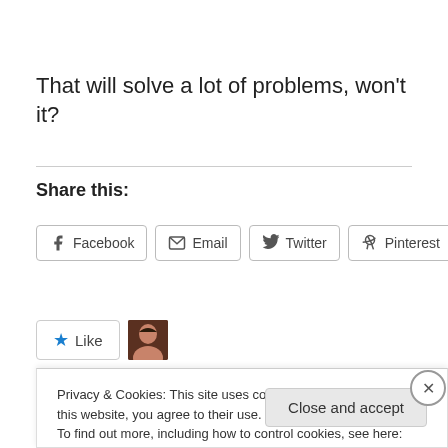That will solve a lot of problems, won't it?
Share this:
[Figure (screenshot): Social sharing buttons: Facebook, Email, Twitter, Pinterest, LinkedIn]
[Figure (screenshot): Like button with star icon and user avatar thumbnail]
Privacy & Cookies: This site uses cookies. By continuing to use this website, you agree to their use. To find out more, including how to control cookies, see here: Cookie Policy